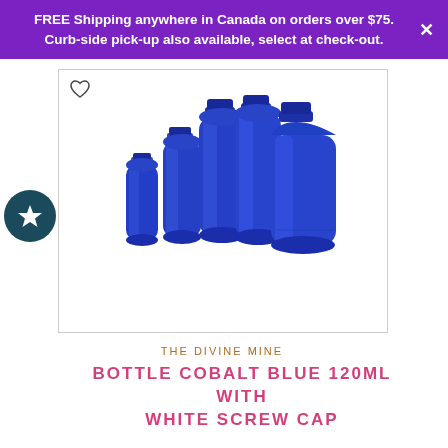FREE Shipping anywhere in Canada on orders over $75. Curb-side pick-up also available, select at check-out.
[Figure (photo): Group of cobalt blue glass bottles of various sizes arranged together, ranging from small 10ml dropper bottles to a large 120ml boston round bottle, all without caps.]
THE DIVINE MINE
BOTTLE COBALT BLUE 120ML WITH WHITE SCREW CAP